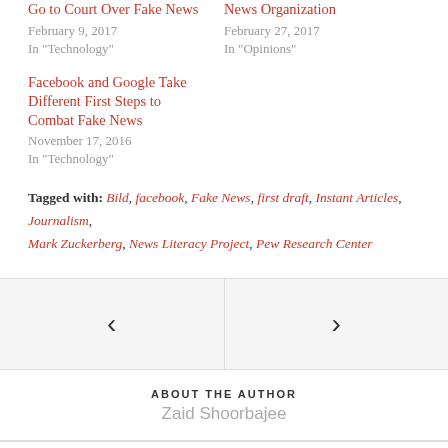Go to Court Over Fake News
February 9, 2017
In "Technology"
News Organization
February 27, 2017
In "Opinions"
Facebook and Google Take Different First Steps to Combat Fake News
November 17, 2016
In "Technology"
Tagged with: Bild, facebook, Fake News, first draft, Instant Articles, Journalism, Mark Zuckerberg, News Literacy Project, Pew Research Center
[Figure (other): Navigation arrows: left chevron and right chevron for previous/next post navigation]
ABOUT THE AUTHOR
Zaid Shoorbajee